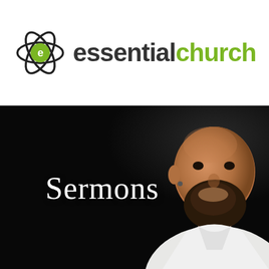[Figure (logo): Essential Church logo: atom-like circular icon with letter 'e' inside, followed by text 'essential' in dark bold and 'church' in green bold]
[Figure (photo): Dark photograph of a smiling bald man with a beard wearing a white shirt, with the word 'Sermons' displayed in white serif text over the dark left portion of the image]